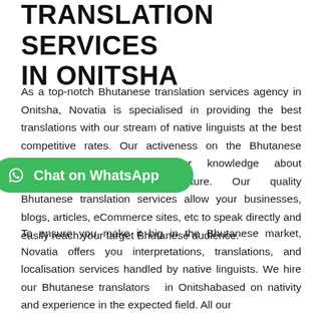TRANSLATION SERVICES IN ONITSHA
As a top-notch Bhutanese translation services agency in Onitsha, Novatia is specialised in providing the best translations with our stream of native linguists at the best competitive rates. Our activeness on the Bhutanese market has given us prior knowledge about [their language] and culture. Our quality Bhutanese translation services allow your businesses, blogs, articles, eCommerce sites, etc to speak directly and easily reach your target Bhutanese audience.
[Figure (other): Green WhatsApp chat button with WhatsApp icon and text 'Chat on WhatsApp']
To ensure you make it big in the Bhutanese market, Novatia offers you interpretations, translations, and localisation services handled by native linguists. We hire our Bhutanese translators  in Onitshabased on nativity and experience in the expected field. All our